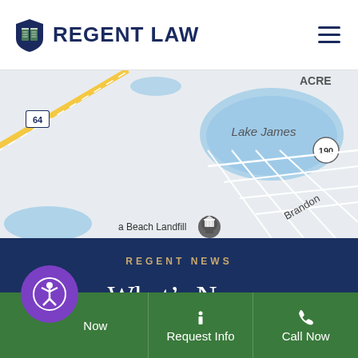[Figure (logo): Regent Law logo with shield/book icon and text]
[Figure (map): Google Maps showing Lake James area, Brandon road, Route 64, Route 190, and a Beach Landfill location marker]
REGENT NEWS
What’s New
[Figure (other): Tan/gold colored content card placeholder]
[Figure (other): Bottom navigation bar with accessibility button, Request Info, and Call Now buttons on green background]